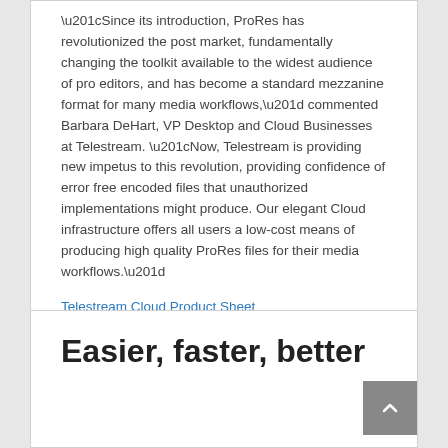“Since its introduction, ProRes has revolutionized the post market, fundamentally changing the toolkit available to the widest audience of pro editors, and has become a standard mezzanine format for many media workflows,” commented Barbara DeHart, VP Desktop and Cloud Businesses at Telestream. “Now, Telestream is providing new impetus to this revolution, providing confidence of error free encoded files that unauthorized implementations might produce. Our elegant Cloud infrastructure offers all users a low-cost means of producing high quality ProRes files for their media workflows.”
Telestream Cloud Product Sheet
Easier, faster, better